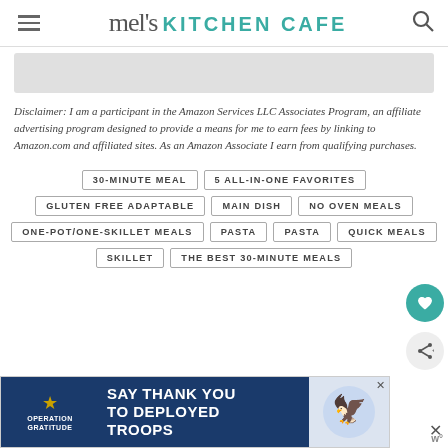mel's KITCHEN CAFE
[Figure (photo): Gray placeholder image area]
Disclaimer: I am a participant in the Amazon Services LLC Associates Program, an affiliate advertising program designed to provide a means for me to earn fees by linking to Amazon.com and affiliated sites. As an Amazon Associate I earn from qualifying purchases.
30-MINUTE MEAL
5 ALL-IN-ONE FAVORITES
GLUTEN FREE ADAPTABLE
MAIN DISH
NO OVEN MEALS
ONE-POT/ONE-SKILLET MEALS
PASTA
PASTA
QUICK MEALS
SKILLET
THE BEST 30-MINUTE MEALS
[Figure (advertisement): Operation Gratitude ad - SAY THANK YOU TO DEPLOYED TROOPS]